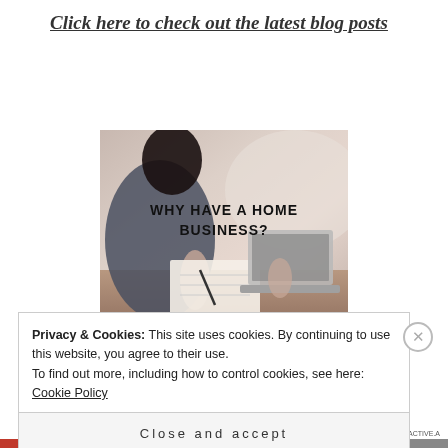Click here to check out the latest blog posts
[Figure (photo): Person sitting at a desk writing in a notebook with a laptop in the foreground. Text overlay reads 'WHY HAVE A HOME BUSINESS?']
Why have a home business?
Privacy & Cookies: This site uses cookies. By continuing to use this website, you agree to their use.
To find out more, including how to control cookies, see here: Cookie Policy
Close and accept